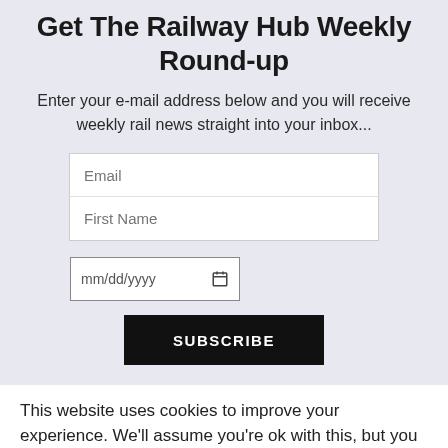Get The Railway Hub Weekly Round-up
Enter your e-mail address below and you will receive weekly rail news straight into your inbox...
[Figure (screenshot): Newsletter subscription form with Email field, First Name field, date picker (mm/dd/yyyy), and a SUBSCRIBE button]
This website uses cookies to improve your experience. We'll assume you're ok with this, but you can opt-out if you wish.
Accept  Read More